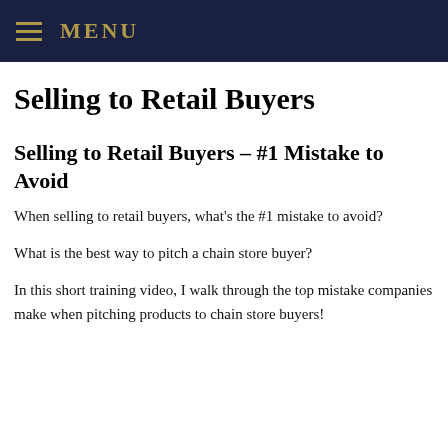MENU
Selling to Retail Buyers
Selling to Retail Buyers – #1 Mistake to Avoid
When selling to retail buyers, what's the #1 mistake to avoid?
What is the best way to pitch a chain store buyer?
In this short training video, I walk through the top mistake companies make when pitching products to chain store buyers!